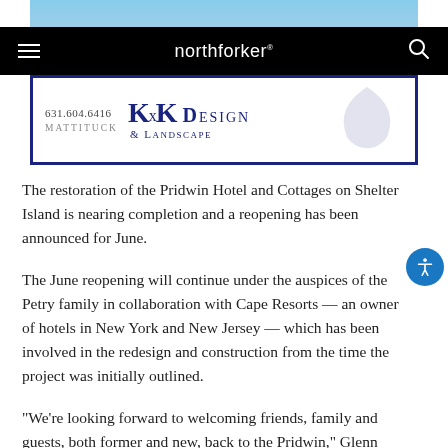[Figure (photo): Top portion of a pool area with lounge chairs, partially visible]
northforker
[Figure (logo): KxK Design & Landscape advertisement banner with phone number 631.604.6416 and location MATTITUCK]
The restoration of the Pridwin Hotel and Cottages on Shelter Island is nearing completion and a reopening has been announced for June.
The June reopening will continue under the auspices of the Petry family in collaboration with Cape Resorts — an owner of hotels in New York and New Jersey — which has been involved in the redesign and construction from the time the project was initially outlined.
“We’re looking forward to welcoming friends, family and guests, both former and new, back to the Pridwin,” Glenn Petry said. “We’re excited to open the Pridwin’s doors and